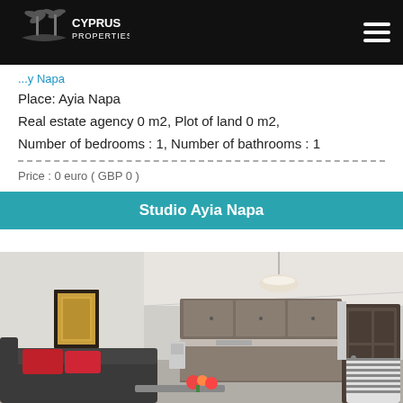Cyprus Properties
Place: Ayia Napa
Real estate agency 0 m2, Plot of land 0 m2,
Number of bedrooms : 1, Number of bathrooms : 1
Price : 0 euro ( GBP 0 )
Studio Ayia Napa
[Figure (photo): Interior photo of a studio apartment in Ayia Napa showing living area with dark sofa with red cushions, open-plan kitchen with dark wood cabinets, pendant light, wall art, and a dark wooden front door.]